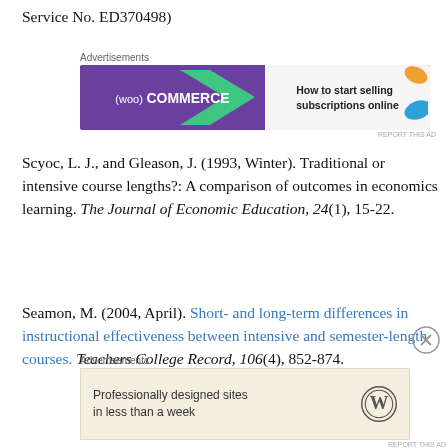Service No. ED370498)
[Figure (other): WooCommerce advertisement banner: 'How to start selling subscriptions online']
Scyoc, L. J., and Gleason, J. (1993, Winter). Traditional or intensive course lengths?: A comparison of outcomes in economics learning. The Journal of Economic Education, 24(1), 15-22.
Seamon, M. (2004, April). Short- and long-term differences in instructional effectiveness between intensive and semester-length courses. Teachers College Record, 106(4), 852-874.
[Figure (other): WordPress advertisement: 'Professionally designed sites in less than a week']